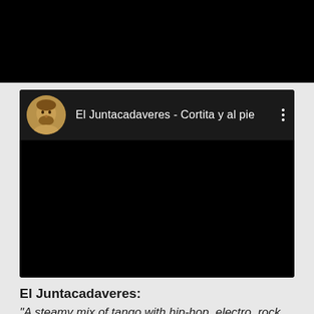[Figure (screenshot): Black top bar area of a mobile screen]
[Figure (screenshot): YouTube-style video card with dark background showing channel avatar, title 'El Juntacadaveres - Cortita y al pie', and three-dot menu icon. The video content area is black.]
El Juntacadaveres:
"A steamy mix of tango with hip-hop, electro, rock, jazz...